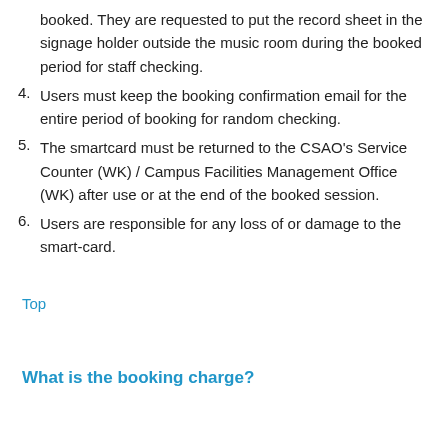booked. They are requested to put the record sheet in the signage holder outside the music room during the booked period for staff checking.
4. Users must keep the booking confirmation email for the entire period of booking for random checking.
5. The smartcard must be returned to the CSAO’s Service Counter (WK) / Campus Facilities Management Office (WK) after use or at the end of the booked session.
6. Users are responsible for any loss of or damage to the smart-card.
Top
What is the booking charge?